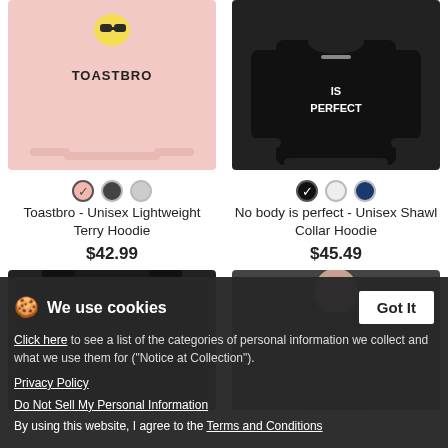[Figure (photo): Pink long-sleeve hoodie with Toastbro graphic design]
[Figure (photo): Black shawl collar hoodie with No body is perfect graphic]
Toastbro - Unisex Lightweight Terry Hoodie
$42.99
No body is perfect - Unisex Shawl Collar Hoodie
$45.49
[Figure (photo): Black hoodie back view with No body is perfect graphic]
[Figure (photo): Woman wearing dark tank top with graphic design]
We use cookies
Click here to see a list of the categories of personal information we collect and what we use them for ("Notice at Collection").
Privacy Policy
Do Not Sell My Personal Information
By using this website, I agree to the Terms and Conditions